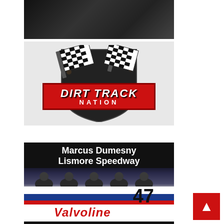[Figure (photo): Dark textured background photo, appears to be a dark fabric or surface]
[Figure (logo): Dirt Track Nation logo with checkered flags, shield shape, and red banner with white text reading DIRT TRACK NATION]
[Figure (photo): Marcus Dumesny at Lismore Speedway - header text over photo of race team with Valvoline #47 sprint car, several people standing in front of the car]